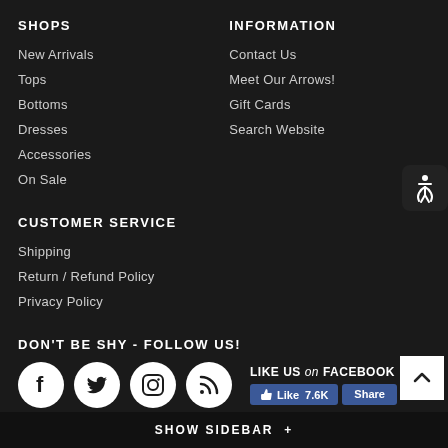SHOPS
New Arrivals
Tops
Bottoms
Dresses
Accessories
On Sale
INFORMATION
Contact Us
Meet Our Arrows!
Gift Cards
Search Website
CUSTOMER SERVICE
Shipping
Return / Refund Policy
Privacy Policy
DON'T BE SHY - FOLLOW US!
[Figure (infographic): Social media icons: Facebook, Twitter, Instagram, RSS feed circles, plus Facebook Like (7.6K) and Share buttons]
SHOW SIDEBAR +